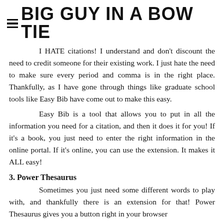BIG GUY IN A BOW TIE
I HATE citations! I understand and don't discount the need to credit someone for their existing work. I just hate the need to make sure every period and comma is in the right place. Thankfully, as I have gone through things like graduate school tools like Easy Bib have come out to make this easy.
Easy Bib is a tool that allows you to put in all the information you need for a citation, and then it does it for you! If it's a book, you just need to enter the right information in the online portal. If it's online, you can use the extension. It makes it ALL easy!
3. Power Thesaurus
Sometimes you just need some different words to play with, and thankfully there is an extension for that! Power Thesaurus gives you a button right in your browser